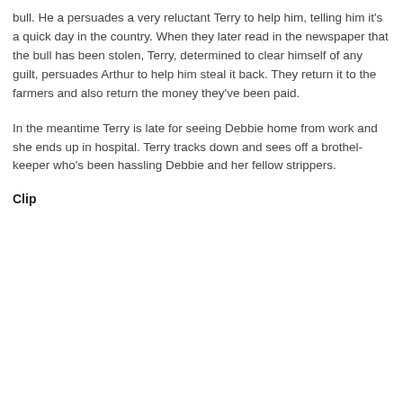bull.  He a persuades a very reluctant Terry to help him, telling him it's a quick day in the country.  When they later read in the newspaper that the bull has been stolen, Terry, determined to clear himself of any guilt, persuades Arthur to help him steal it back.  They return it to the farmers and also return the money they've been paid.
In the meantime Terry is late for seeing Debbie home from work and she ends up in hospital.  Terry tracks down and sees off a brothel-keeper who's been hassling Debbie and her fellow strippers.
Clip